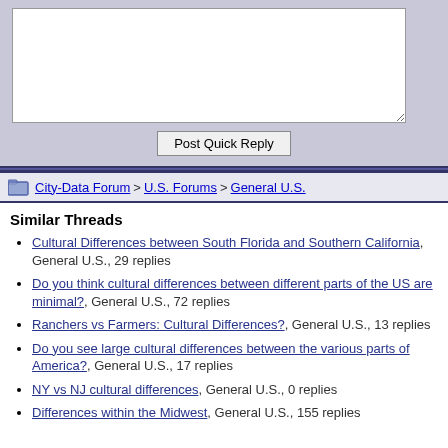[Figure (screenshot): Quick reply textarea input box (empty white box with resize handle)]
Post Quick Reply
City-Data Forum > U.S. Forums > General U.S.
Similar Threads
Cultural Differences between South Florida and Southern California, General U.S., 29 replies
Do you think cultural differences between different parts of the US are minimal?, General U.S., 72 replies
Ranchers vs Farmers: Cultural Differences?, General U.S., 13 replies
Do you see large cultural differences between the various parts of America?, General U.S., 17 replies
NY vs NJ cultural differences, General U.S., 0 replies
Differences within the Midwest, General U.S., 155 replies